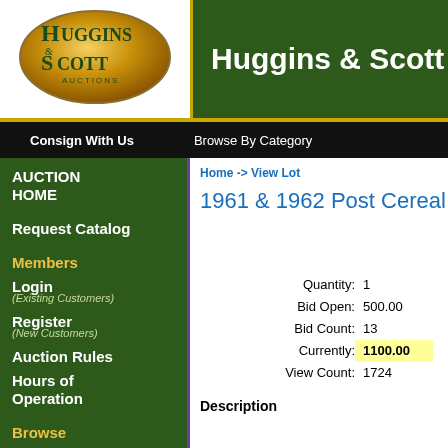[Figure (logo): Huggins & Scott Auctions oval logo with gold/brown gradient background and dark green text]
Huggins & Scott
Consign With Us   Browse By Category
AUCTION HOME
Request Catalog
Members
Login (Existing Customers)
Register (New Customers)
Auction Rules
Hours of Operation
Browse
Home -> View Lot
1961 & 1962 Post Cereal
| Label | Value |
| --- | --- |
| Quantity: | 1 |
| Bid Open: | 500.00 |
| Bid Count: | 13 |
| Currently: | 1100.00 |
| View Count: | 1724 |
Description